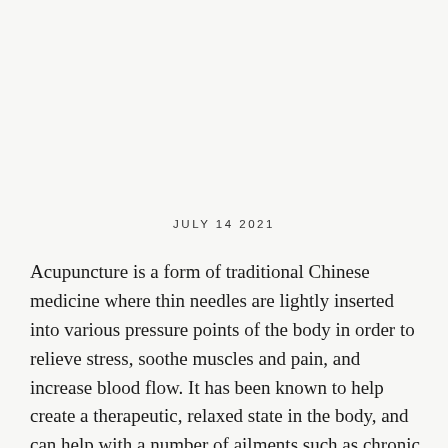JULY 14 2021
Acupuncture is a form of traditional Chinese medicine where thin needles are lightly inserted into various pressure points of the body in order to relieve stress, soothe muscles and pain, and increase blood flow. It has been known to help create a therapeutic, relaxed state in the body, and can help with a number of ailments such as chronic pain, migraines, and even certain digestive issues. Acupuncture is often used to help release tension in the muscles and balance your qi, but in recent years the practice has risen in popularity as a more natural alternative...